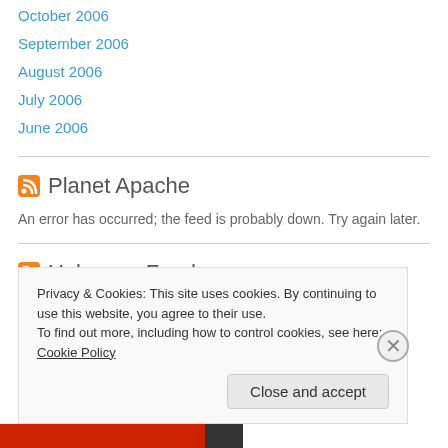October 2006
September 2006
August 2006
July 2006
June 2006
Planet Apache
An error has occurred; the feed is probably down. Try again later.
Unknown Food
Privacy & Cookies: This site uses cookies. By continuing to use this website, you agree to their use.
To find out more, including how to control cookies, see here: Cookie Policy